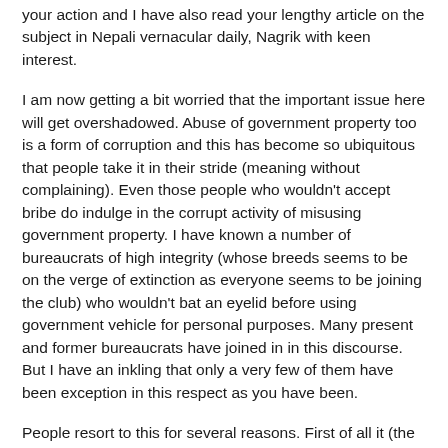your action and I have also read your lengthy article on the subject in Nepali vernacular daily, Nagrik with keen interest.
I am now getting a bit worried that the important issue here will get overshadowed. Abuse of government property too is a form of corruption and this has become so ubiquitous that people take it in their stride (meaning without complaining). Even those people who wouldn't accept bribe do indulge in the corrupt activity of misusing government property. I have known a number of bureaucrats of high integrity (whose breeds seems to be on the verge of extinction as everyone seems to be joining the club) who wouldn't bat an eyelid before using government vehicle for personal purposes. Many present and former bureaucrats have joined in in this discourse. But I have an inkling that only a very few of them have been exception in this respect as you have been.
People resort to this for several reasons. First of all it (the vehicle) is simply there and for ordinary mortals it is difficult to suppress the temptation to get driven in a comfortable vehicle that is at one's disposal and instead ride a public transport.